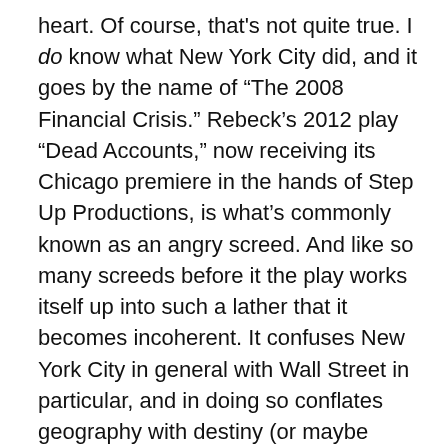heart. Of course, that's not quite true. I do know what New York City did, and it goes by the name of “The 2008 Financial Crisis.” Rebeck’s 2012 play “Dead Accounts,” now receiving its Chicago premiere in the hands of Step Up Productions, is what’s commonly known as an angry screed. And like so many screeds before it the play works itself up into such a lather that it becomes incoherent. It confuses New York City in general with Wall Street in particular, and in doing so conflates geography with destiny (or maybe culpability is a better word) and undermines its own very salient point of view. Wall Street deserves to be excoriated for what it did to this country, but “Dead Accounts” is about